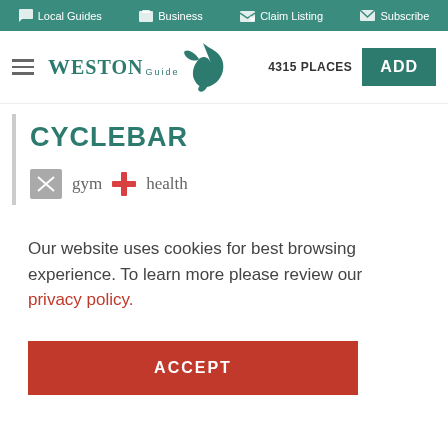Local Guides   Business   Claim Listing   Subscribe
[Figure (logo): Weston Guide logo with teal bird/leaf icon and text 'WESTON Guide']
4315 PLACES
ADD
CYCLEBAR
gym   health
Our website uses cookies for best browsing experience. To learn more please review our privacy policy.
ACCEPT